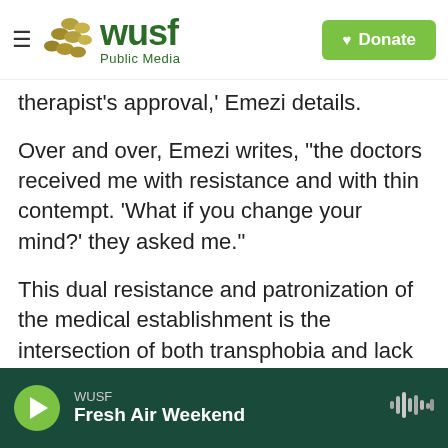WUSF Public Media | Donate
therapist's approval,' Emezi details.
Over and over, Emezi writes, "the doctors received me with resistance and with thin contempt. 'What if you change your mind?' they asked me."
This dual resistance and patronization of the medical establishment is the intersection of both transphobia and lack of belief in Black people's articulation of their health concerns when seeking medical care. A 2020 poll by the Kaiser Family Foundation and The Undefeated found that "one in five Black adults say they were treated unfairly because of their race in the past year when getting
WUSF / Fresh Air Weekend